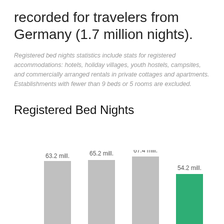recorded for travelers from Germany (1.7 million nights).
Registered bed nights statistics include stats for registered accommodations: hotels, holiday villages, youth hostels, campsites, and commercially arranged rentals in private cottages and apartments. Establishments with fewer than 9 beds or 5 rooms are excluded.
Registered Bed Nights
[Figure (bar-chart): Registered Bed Nights]